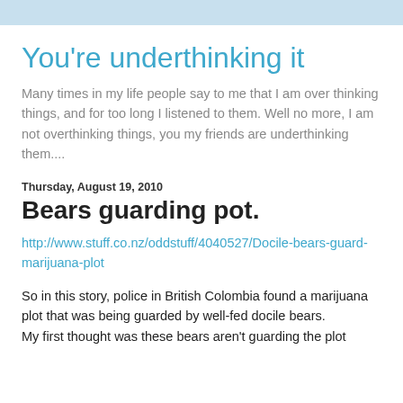You're underthinking it
Many times in my life people say to me that I am over thinking things, and for too long I listened to them. Well no more, I am not overthinking things, you my friends are underthinking them....
Thursday, August 19, 2010
Bears guarding pot.
http://www.stuff.co.nz/oddstuff/4040527/Docile-bears-guard-marijuana-plot
So in this story, police in British Colombia found a marijuana plot that was being guarded by well-fed docile bears.
My first thought was these bears aren't guarding the plot